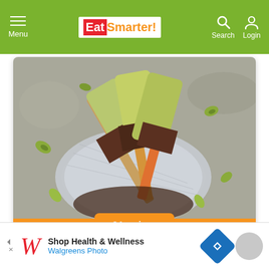Menu | EatSmarter! | Search Login
[Figure (photo): Overhead photo of green matcha ice cream popsicles with dark chocolate-dipped bottoms on a cloth, surrounded by scattered pistachio nuts on a gray stone surface]
34 recipes
Healthy Ice Cream Recipes
[Figure (infographic): Walgreens advertisement banner: Shop Health & Wellness, Walgreens Photo, with Walgreens W logo and blue navigation arrow icon]